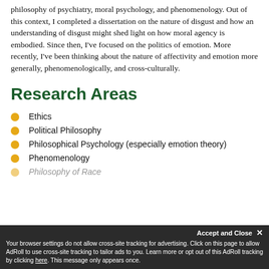philosophy of psychiatry, moral psychology, and phenomenology. Out of this context, I completed a dissertation on the nature of disgust and how an understanding of disgust might shed light on how moral agency is embodied. Since then, I've focused on the politics of emotion. More recently, I've been thinking about the nature of affectivity and emotion more generally, phenomenologically, and cross-culturally.
Research Areas
Ethics
Political Philosophy
Philosophical Psychology (especially emotion theory)
Phenomenology
Philosophy of Race
Accept and Close ✕ Your browser settings do not allow cross-site tracking for advertising. Click on this page to allow AdRoll to use cross-site tracking to tailor ads to you. Learn more or opt out of this AdRoll tracking by clicking here. This message only appears once.